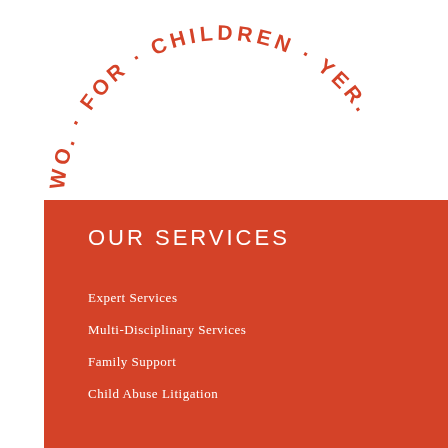[Figure (logo): Circular text logo in red reading 'WORK FOR CHILDREN' arranged in an arc, partially visible at top of page]
OUR SERVICES
Expert Services
Multi-Disciplinary Services
Family Support
Child Abuse Litigation